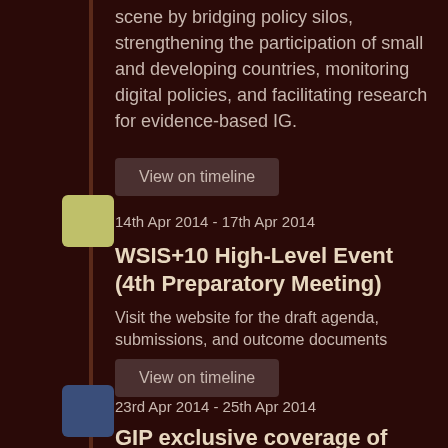scene by bridging policy silos, strengthening the participation of small and developing countries, monitoring digital policies, and facilitating research for evidence-based IG.
View on timeline
14th Apr 2014 - 17th Apr 2014
WSIS+10 High-Level Event (4th Preparatory Meeting)
Visit the website for the draft agenda, submissions, and outcome documents
View on timeline
23rd Apr 2014 - 25th Apr 2014
GIP exclusive coverage of NETmundial